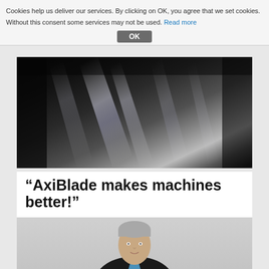Cookies help us deliver our services. By clicking on OK, you agree that we set cookies. Without this consent some services may not be used. Read more
[Figure (photo): Close-up abstract dark photo of reflective industrial blades or fan components with metallic highlights]
“AxiBlade makes machines better!”
What can AxiBlade do better? And what’s in it for customers? Patrick Stern, Head of Market Management, Refrigeration Technology Division, tells us.
[Figure (photo): Portrait photo of a man in a dark suit with a blue tie, grey hair, smiling slightly — Patrick Stern, Head of Market Management, Refrigeration Technology Division]